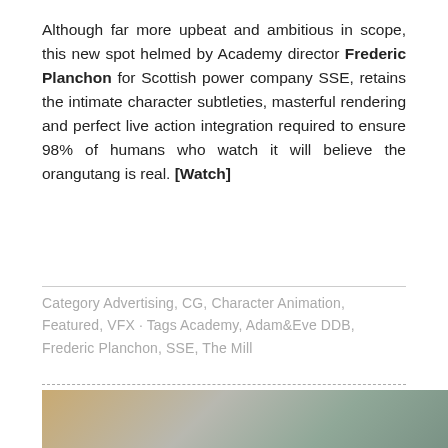Although far more upbeat and ambitious in scope, this new spot helmed by Academy director Frederic Planchon for Scottish power company SSE, retains the intimate character subtleties, masterful rendering and perfect live action integration required to ensure 98% of humans who watch it will believe the orangutang is real. [Watch]
Category Advertising, CG, Character Animation, Featured, VFX · Tags Academy, Adam&Eve DDB, Frederic Planchon, SSE, The Mill
[Figure (photo): Partial photo visible at bottom of page, showing a warm brownish-golden subject on the left against a muted grey-green background.]